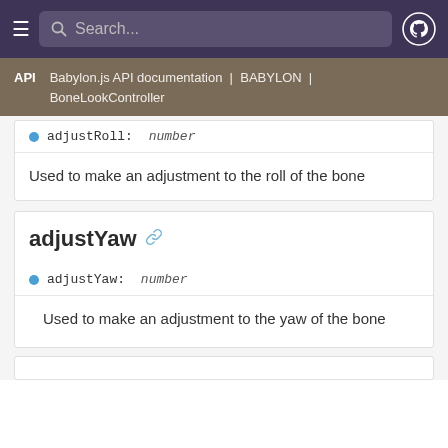Search...  Babylon.js API documentation | BABYLON | BoneLookController
adjustRoll: number
Used to make an adjustment to the roll of the bone
adjustYaw
adjustYaw: number
Used to make an adjustment to the yaw of the bone